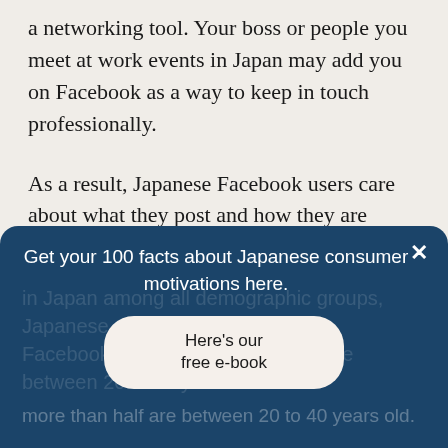a networking tool. Your boss or people you meet at work events in Japan may add you on Facebook as a way to keep in touch professionally.
As a result, Japanese Facebook users care about what they post and how they are perceived on Facebook. The types of posts people create tend to be less controversial and more widely acceptable compared to Twitter.
Get your 100 facts about Japanese consumer motivations here.
Here's our free e-book